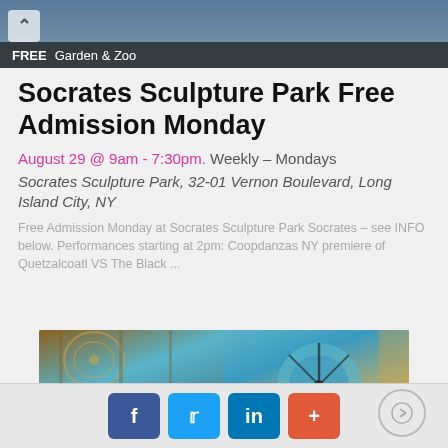[Figure (photo): Top banner photo showing outdoor scene with people, partially visible]
FREE  Garden & Zoo
Socrates Sculpture Park Free Admission Monday
August 29 @ 9am - 7:30pm.  Weekly – Mondays
Socrates Sculpture Park, 32-01 Vernon Boulevard, Long Island City, NY
Free Admission Monday at Socrates Sculpture Park Socrates – see INFO below. Performances starting at 2pm: Coopdanzas NY premiere of Quetzalcoatl VS The Black ...
[Figure (photo): Interior of ornate cathedral or synagogue with colorful mosaic arches and decorative ceiling]
Social share buttons: Facebook, Twitter, LinkedIn, Plus; Navigation arrow